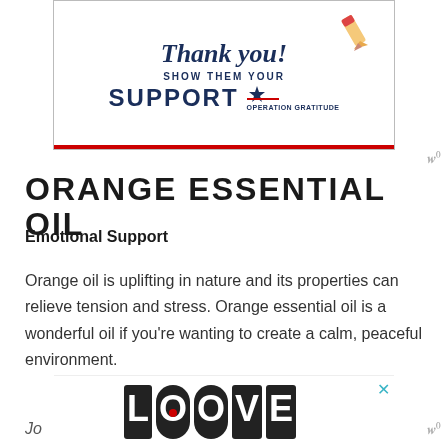[Figure (illustration): Thank You - Show Them Your Support, Operation Gratitude advertisement banner with pencil and star graphic]
ORANGE ESSENTIAL OIL
Emotional Support
Orange oil is uplifting in nature and its properties can relieve tension and stress. Orange essential oil is a wonderful oil if you're wanting to create a calm, peaceful environment.
[Figure (illustration): LOOVE advertisement banner at bottom of page with close (x) button]